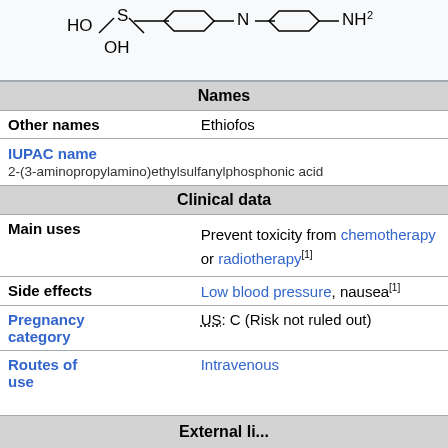[Figure (chemical-structure): Chemical structure diagram of amifostine showing HO, OH, S groups connected to a chain ending in NH2]
| Names |  |
| Other names | Ethiofos |
| IUPAC name | 2-(3-aminopropylamino)ethylsulfanylphosphonic acid |
| Clinical data |  |
| Main uses | Prevent toxicity from chemotherapy or radiotherapy[1] |
| Side effects | Low blood pressure, nausea[1] |
| Pregnancy category | US: C (Risk not ruled out) |
| Routes of use | Intravenous |